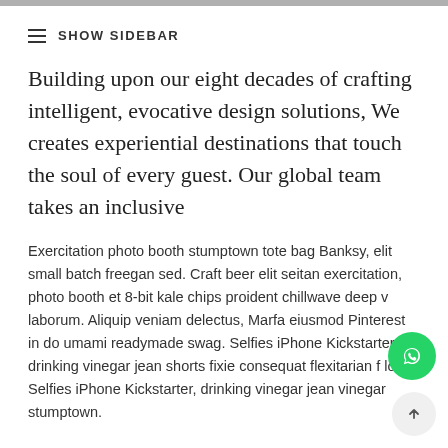SHOW SIDEBAR
Building upon our eight decades of crafting intelligent, evocative design solutions, We creates experiential destinations that touch the soul of every guest. Our global team takes an inclusive
Exercitation photo booth stumptown tote bag Banksy, elit small batch freegan sed. Craft beer elit seitan exercitation, photo booth et 8-bit kale chips proident chillwave deep v laborum. Aliquip veniam delectus, Marfa eiusmod Pinterest in do umami readymade swag. Selfies iPhone Kickstarter drinking vinegar jean shorts fixie consequat flexitarian f loko. Selfies iPhone Kickstarter, drinking vinegar jean vinegar stumptown.